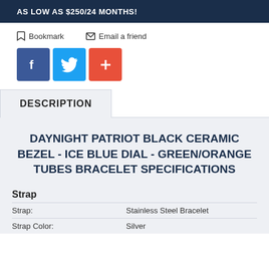AS LOW AS $250/24 MONTHS!
Bookmark   Email a friend
[Figure (infographic): Social share buttons: Facebook (blue), Twitter (blue), Add/Plus (orange-red)]
DESCRIPTION
DAYNIGHT PATRIOT BLACK CERAMIC BEZEL - ICE BLUE DIAL - GREEN/ORANGE TUBES BRACELET SPECIFICATIONS
Strap
Strap: Stainless Steel Bracelet
Strap Color: Silver